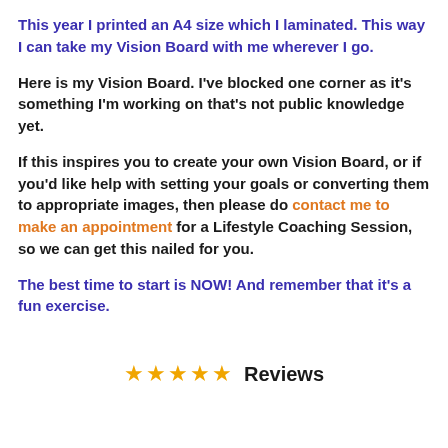This year I printed an A4 size which I laminated. This way I can take my Vision Board with me wherever I go.
Here is my Vision Board. I've blocked one corner as it's something I'm working on that's not public knowledge yet.
If this inspires you to create your own Vision Board, or if you'd like help with setting your goals or converting them to appropriate images, then please do contact me to make an appointment for a Lifestyle Coaching Session, so we can get this nailed for you.
The best time to start is NOW! And remember that it's a fun exercise.
★★★★★ Reviews